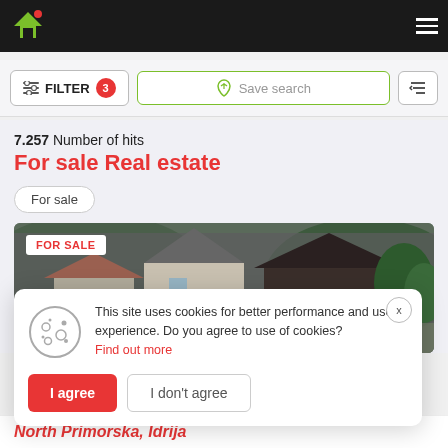Real estate listing site header with logo and navigation
FILTER 3   Save search   sort icon
7.257 Number of hits
For sale Real estate
For sale
[Figure (photo): Photograph of a residential property with grey-slate roofing surrounded by trees. A 'FOR SALE' label is shown in the top-left corner.]
This site uses cookies for better performance and user experience. Do you agree to use of cookies? Find out more
I agree   I don't agree
North Primorska, Idrija